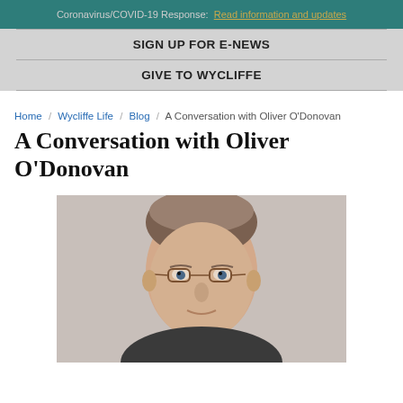Coronavirus/COVID-19 Response: Read information and updates
SIGN UP FOR E-NEWS
GIVE TO WYCLIFFE
Home / Wycliffe Life / Blog / A Conversation with Oliver O'Donovan
A Conversation with Oliver O'Donovan
[Figure (photo): Headshot of Oliver O'Donovan, an older man with glasses and grey hair, photographed against a light background.]